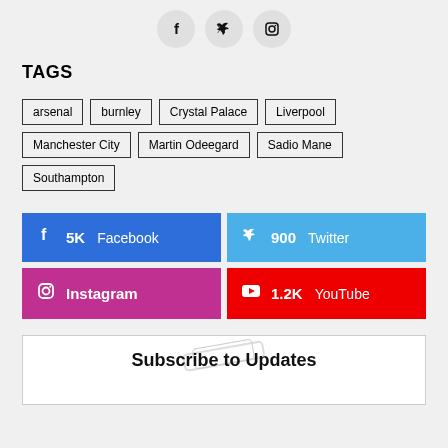[Figure (illustration): Three social media icon circles: Facebook (f), Twitter (bird), Instagram (camera)]
TAGS
arsenal
burnley
Crystal Palace
Liverpool
Manchester City
Martin Odeegard
Sadio Mane
Southampton
[Figure (infographic): Four social media follow buttons: Facebook 5K, Twitter 900, Instagram, YouTube 1.2K]
Subscribe to Updates